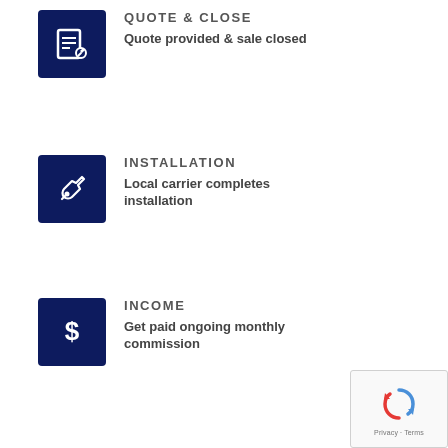[Figure (infographic): Dark navy blue icon box with a document/pen icon representing Quote & Close step]
QUOTE & CLOSE
Quote provided & sale closed
[Figure (infographic): Dark navy blue icon box with a wrench/tool icon representing Installation step]
INSTALLATION
Local carrier completes installation
[Figure (infographic): Dark navy blue icon box with a dollar sign icon representing Income step]
INCOME
Get paid ongoing monthly commission
[Figure (logo): reCAPTCHA badge with Privacy and Terms links]